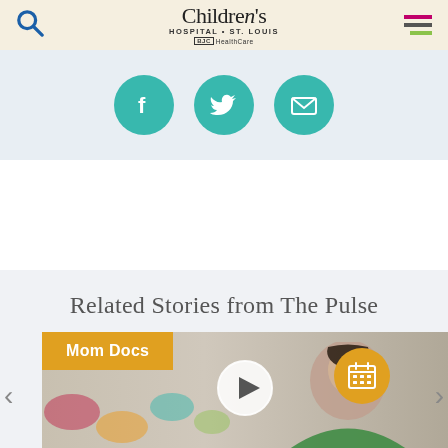Children's Hospital St. Louis - BJC HealthCare
[Figure (infographic): Social share icons: Facebook, Twitter, Email on teal circular backgrounds]
Related Stories from The Pulse
[Figure (photo): Video thumbnail showing woman (doctor/mom) smiling with colorful decorations in background, overlaid with Mom Docs orange badge, play button, calendar button, and left/right navigation arrows]